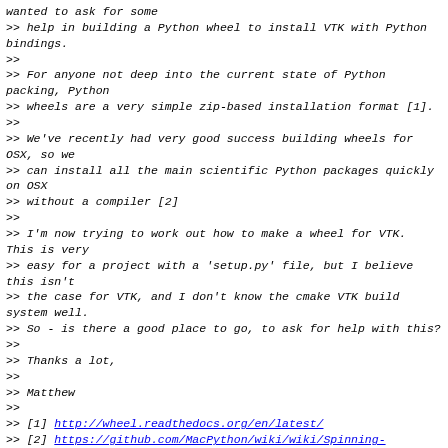wanted to ask for some
>> help in building a Python wheel to install VTK with Python bindings.
>>
>> For anyone not deep into the current state of Python packing, Python
>> wheels are a very simple zip-based installation format [1].
>>
>> We've recently had very good success building wheels for OSX, so we
>> can install all the main scientific Python packages quickly on OSX
>> without a compiler [2]
>>
>> I'm now trying to work out how to make a wheel for VTK.  This is very
>> easy for a project with a 'setup.py' file, but I believe this isn't
>> the case for VTK, and I don't know the cmake VTK build system well.
>> So - is there a good place to go, to ask for help with this?
>>
>> Thanks a lot,
>>
>> Matthew
>>
>> [1] http://wheel.readthedocs.org/en/latest/
>> [2] https://github.com/MacPython/wiki/wiki/Spinning-